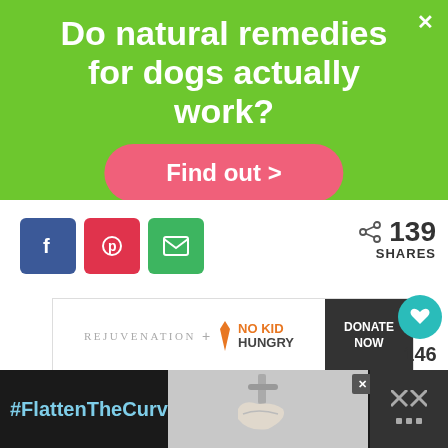Do natural remedies for dogs actually work?
Find out >
[Figure (screenshot): Social share buttons: Facebook (blue), Pinterest (red), Email (green), with share count of 139 SHARES]
[Figure (logo): Rejuvenation + No Kid Hungry advertisement with Donate Now button]
[Figure (screenshot): Like button (teal circle with heart) showing 146 likes, and share button]
#FlattenTheCurve
[Figure (photo): Bottom advertisement bar with #FlattenTheCurve text and hand washing image]